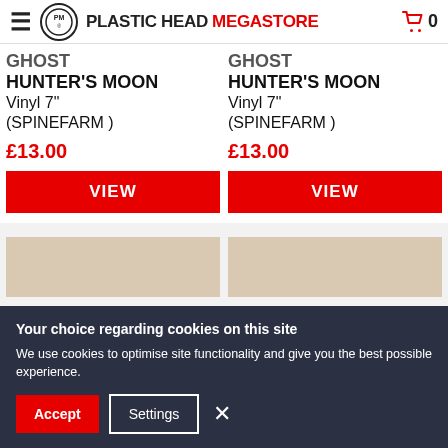Plastic Head Megastore
GHOST HUNTER'S MOON Vinyl 7" (SPINEFARM ) £13.00
GHOST HUNTER'S MOON Vinyl 7" (SPINEFARM ) £13.00
[Figure (photo): Product image placeholder beige/tan color for first item]
[Figure (photo): Product image placeholder beige/tan color for second item]
Your choice regarding cookies on this site
We use cookies to optimise site functionality and give you the best possible experience.